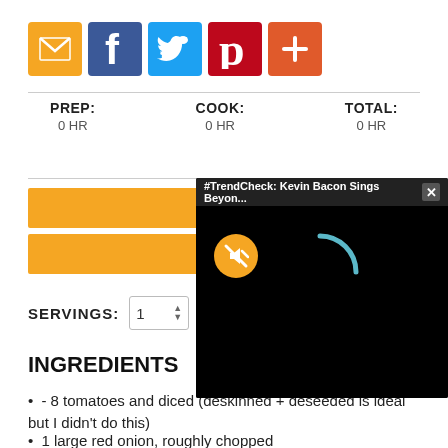[Figure (infographic): Row of social sharing icons: email (orange), Facebook (blue), Twitter (light blue), Pinterest (red), Google+ (orange-red)]
| PREP: | COOK: | TOTAL: |
| --- | --- | --- |
| 0 HR | 0 HR | 0 HR |
[Figure (infographic): Two orange rectangular bars (recipe action buttons, text obscured by popup overlay)]
[Figure (screenshot): Video popup overlay with black background, title bar reading '#TrendCheck: Kevin Bacon Sings Beyon...' with X close button, muted icon (yellow circle with speaker crossed out), and teal loading spinner arc]
SERVINGS: 1
INGREDIENTS
- 8 tomatoes and diced (deskinned + deseeded is ideal but I didn't do this)
1 large red onion, roughly chopped